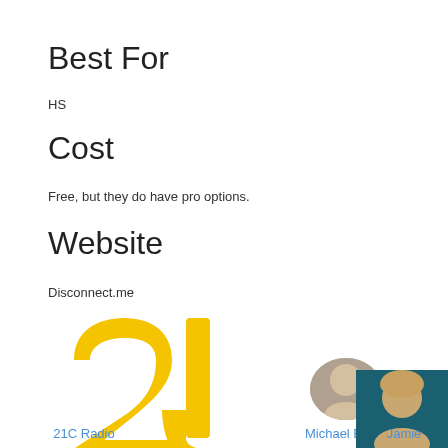Best For
HS
Cost
Free, but they do have pro options.
Website
Disconnect.me
[Figure (logo): 21C logo — yellow/gold stylized '21' symbol]
21C Radio
Michael Boll
Jamie